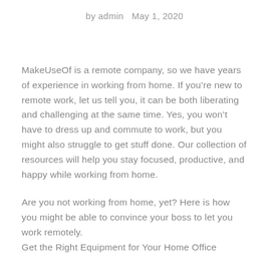by admin   May 1, 2020
MakeUseOf is a remote company, so we have years of experience in working from home. If you’re new to remote work, let us tell you, it can be both liberating and challenging at the same time. Yes, you won’t have to dress up and commute to work, but you might also struggle to get stuff done. Our collection of resources will help you stay focused, productive, and happy while working from home.
Are you not working from home, yet? Here is how you might be able to convince your boss to let you work remotely.
Get the Right Equipment for Your Home Office